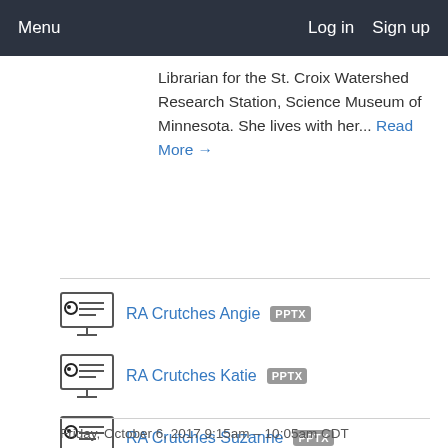Menu   Log in   Sign up
Librarian for the St. Croix Watershed Research Station, Science Museum of Minnesota. She lives with her... Read More →
RA Crutches Angie  PPTX
RA Crutches Katie  PPTX
RA Crutches Suzanne  PPTX
Friday, October 6, 2017 9:15am – 10:05am CDT